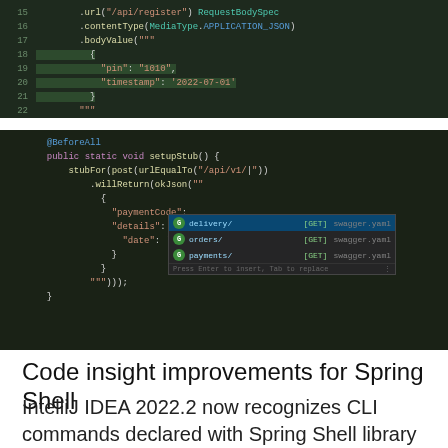[Figure (screenshot): IDE code editor screenshot showing Java code with line numbers 15-22, dark green background, displaying HTTP request builder code with url, contentType, bodyValue methods and a JSON body with 'pin' and 'timestamp' fields]
[Figure (screenshot): IDE code editor screenshot showing Java @BeforeAll setupStub method with stubFor/post/urlEqualTo call and an autocomplete dropdown showing delivery/ [GET], orders/ [GET], payments/ [GET] options from swagger.yaml, with JSON body containing paymentCode, details, and date fields]
Code insight improvements for Spring Shell
IntelliJ IDEA 2022.2 now recognizes CLI commands declared with Spring Shell library and checks their correctness.